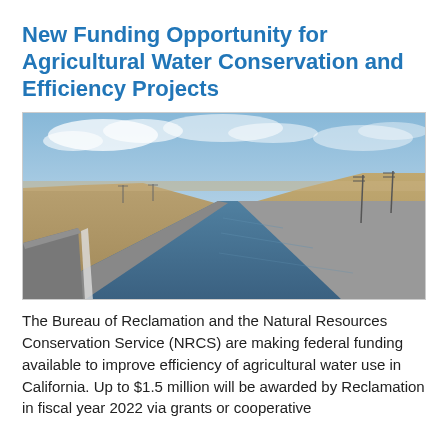New Funding Opportunity for Agricultural Water Conservation and Efficiency Projects
[Figure (photo): Aerial/ground-level photo of a large concrete-lined irrigation canal or aqueduct running through dry, arid California terrain with rolling brown hills and utility poles in the background under a partly cloudy sky.]
The Bureau of Reclamation and the Natural Resources Conservation Service (NRCS) are making federal funding available to improve efficiency of agricultural water use in California. Up to $1.5 million will be awarded by Reclamation in fiscal year 2022 via grants or cooperative